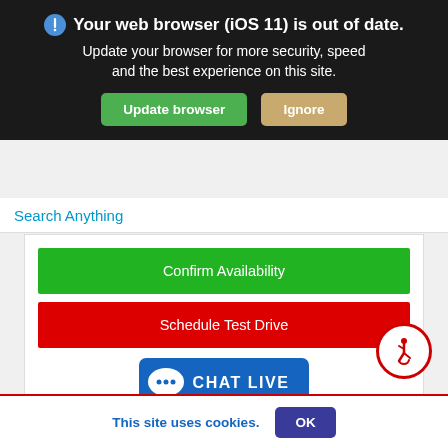🛡 Your web browser (iOS 11) is out of date. Update your browser for more security, speed and the best experience on this site.
Update browser
Ignore
Search Anything
Confirm Availability
Schedule Test Drive
[Figure (illustration): Accessibility wheelchair user icon in red circle]
CHAT LIVE
SULLIVAN BROTHERS TOYOTA
781.585.1300
This site uses cookies.
OK